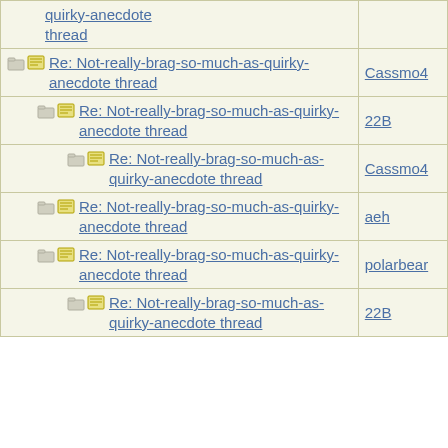| Subject | Author |
| --- | --- |
| quirky-anecdote thread |  |
| Re: Not-really-brag-so-much-as-quirky-anecdote thread | Cassmo4 |
| Re: Not-really-brag-so-much-as-quirky-anecdote thread | 22B |
| Re: Not-really-brag-so-much-as-quirky-anecdote thread | Cassmo4 |
| Re: Not-really-brag-so-much-as-quirky-anecdote thread | aeh |
| Re: Not-really-brag-so-much-as-quirky-anecdote thread | polarbear |
| Re: Not-really-brag-so-much-as-quirky-anecdote thread | 22B |